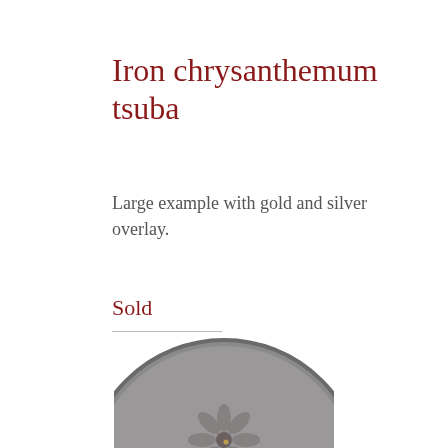Iron chrysanthemum tsuba
Large example with gold and silver overlay.
Sold
[Figure (photo): Photograph of an iron chrysanthemum tsuba (Japanese sword guard), circular, dark grey metal, partially visible at bottom of page showing floral chrysanthemum relief design.]